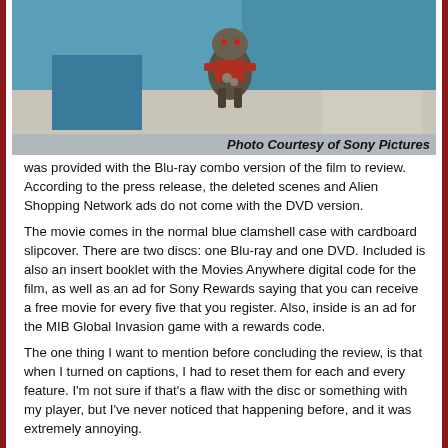[Figure (photo): A toy or figurine character with armor/costume on a surface, photographed indoors against a teal/blue background.]
Photo Courtesy of Sony Pictures
was provided with the Blu-ray combo version of the film to review. According to the press release, the deleted scenes and Alien Shopping Network ads do not come with the DVD version.
The movie comes in the normal blue clamshell case with cardboard slipcover. There are two discs: one Blu-ray and one DVD. Included is also an insert booklet with the Movies Anywhere digital code for the film, as well as an ad for Sony Rewards saying that you can receive a free movie for every five that you register. Also, inside is an ad for the MIB Global Invasion game with a rewards code.
The one thing I want to mention before concluding the review, is that when I turned on captions, I had to reset them for each and every feature. I'm not sure if that's a flaw with the disc or something with my player, but I've never noticed that happening before, and it was extremely annoying.
Final Thoughts